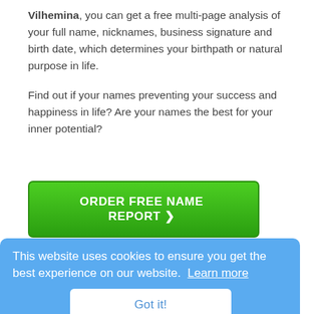Vilhemina, you can get a free multi-page analysis of your full name, nicknames, business signature and birth date, which determines your birthpath or natural purpose in life.
Find out if your names preventing your success and happiness in life? Are your names the best for your inner potential?
ORDER FREE NAME REPORT ❯
More Videos on Why Names Matter
This website uses cookies to ensure you get the best experience on our website. Learn more
Got it!
Name Meaning Links